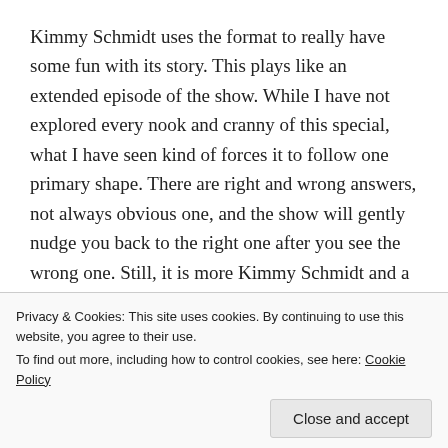Kimmy Schmidt uses the format to really have some fun with its story. This plays like an extended episode of the show. While I have not explored every nook and cranny of this special, what I have seen kind of forces it to follow one primary shape. There are right and wrong answers, not always obvious one, and the show will gently nudge you back to the right one after you see the wrong one. Still, it is more Kimmy Schmidt and a lot of fun to 'play.'
Never Have I Ever – Really solid. A coming of age show about a young Indian-American girl. She has to deal with the differences that come along being an...
Privacy & Cookies: This site uses cookies. By continuing to use this website, you agree to their use.
To find out more, including how to control cookies, see here: Cookie Policy
Close and accept